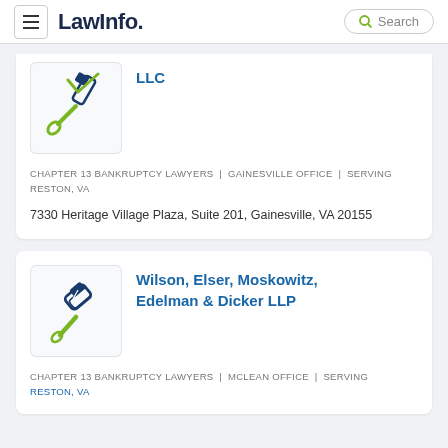LawInfo. Search
[Figure (logo): Partial law firm logo icon (hammer/gavel with pencil, green and navy)]
LLC
CHAPTER 13 BANKRUPTCY LAWYERS | GAINESVILLE OFFICE | SERVING RESTON, VA
7330 Heritage Village Plaza, Suite 201, Gainesville, VA 20155
[Figure (logo): Law firm logo icon (gavel/hammer, green and navy)]
Wilson, Elser, Moskowitz, Edelman & Dicker LLP
CHAPTER 13 BANKRUPTCY LAWYERS | MCLEAN OFFICE | SERVING RESTON, VA